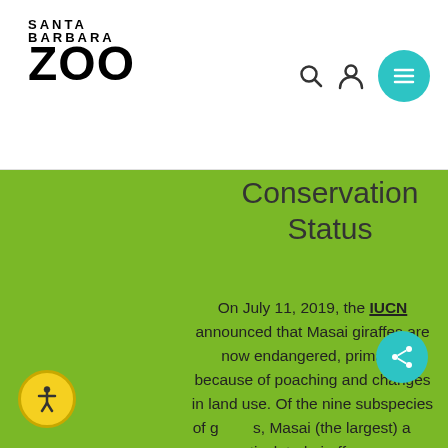SANTA BARBARA ZOO
Conservation Status
On July 11, 2019, the IUCN announced that Masai giraffes are now endangered, primarily because of poaching and changes in land use. Of the nine subspecies of giraffes, Masai (the largest) and reticulated giraffes are